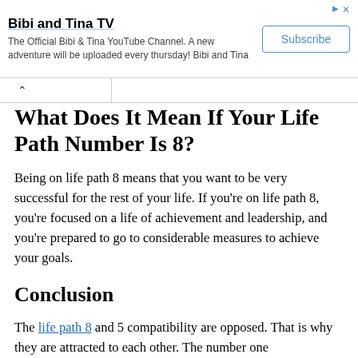[Figure (other): Advertisement banner for Bibi and Tina TV YouTube channel with Subscribe button]
What Does It Mean If Your Life Path Number Is 8?
Being on life path 8 means that you want to be very successful for the rest of your life. If you're on life path 8, you're focused on a life of achievement and leadership, and you're prepared to go to considerable measures to achieve your goals.
Conclusion
The life path 8 and 5 compatibility are opposed. That is why they are attracted to each other. The number one